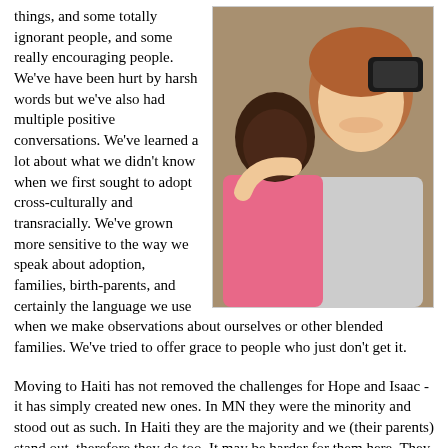things, and some totally ignorant people, and some really encouraging people. We've have been hurt by harsh words but we've also had multiple positive conversations. We've learned a lot about what we didn't know when we first sought to adopt cross-culturally and transracially. We've grown more sensitive to the way we speak about adoption, families, birth-parents, and certainly the language we use when we make observations about ourselves or other blended families. We've tried to offer grace to people who just don't get it.
[Figure (photo): A woman smiling with a young child, taking a selfie. The woman has reddish-brown hair and is wearing a gray top. The child is in a pink shirt.]
Moving to Haiti has not removed the challenges for Hope and Isaac - it has simply created new ones. In MN they were the minority and stood out as such. In Haiti they are the majority and we (their parents) stand out, therefore they do too. It may be harder for them here. They don't escape being "different". Now they are "those kids that live with the blans" to our neighbors. In many ways moving here just made us all odd outsiders and it is no longer a unique thing that only Hope and Isaac experience.